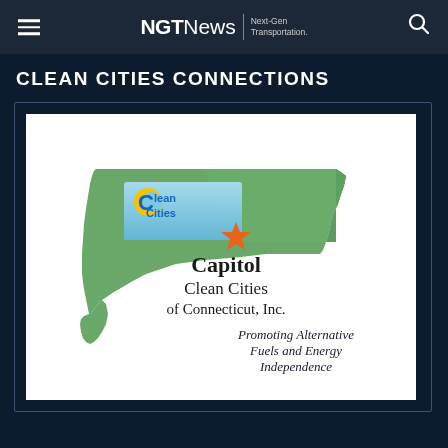NGTNews | Next-Gen Transportation.
CLEAN CITIES CONNECTIONS
[Figure (logo): Capitol Clean Cities of Connecticut, Inc. logo — green silhouette of Connecticut state with 'Clean Cities' badge (blue gradient rectangle with yellow/blue 'C' icon), an orange star, bold text 'Capitol Clean Cities of Connecticut, Inc.' and italic tagline 'Promoting Alternative Fuels and Energy Independence']